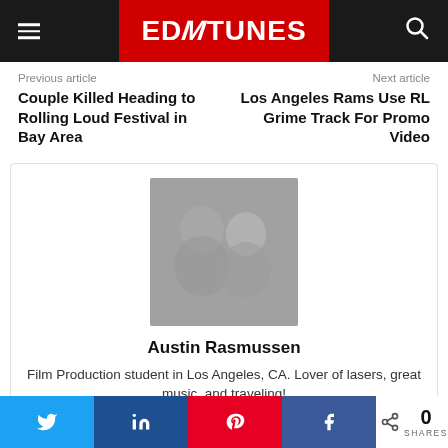EDMTUNES
Previous article
Next article
Couple Killed Heading to Rolling Loud Festival in Bay Area
Los Angeles Rams Use RL Grime Track For Promo Video
[Figure (photo): Author profile photo of Austin Rasmussen — two people smiling in a dark setting]
Austin Rasmussen
Film Production student in Los Angeles, CA. Lover of lasers, great music, and traveling!
0 SHARES — Twitter, LinkedIn, Pinterest, Facebook share buttons